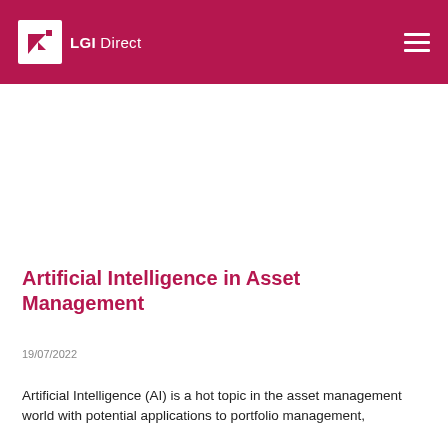LGI Direct
Artificial Intelligence in Asset Management
19/07/2022
Artificial Intelligence (AI) is a hot topic in the asset management world with potential applications to portfolio management,